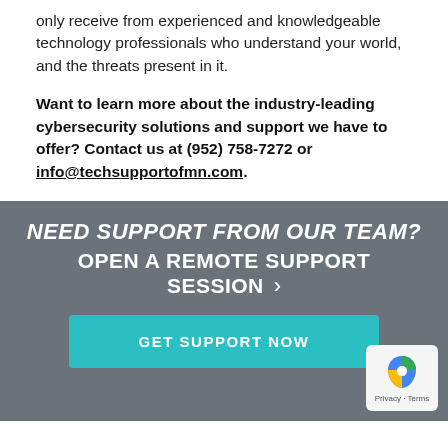only receive from experienced and knowledgeable technology professionals who understand your world, and the threats present in it.
Want to learn more about the industry-leading cybersecurity solutions and support we have to offer? Contact us at (952) 758-7272 or info@techsupportofmn.com.
NEED SUPPORT FROM OUR TEAM? OPEN A REMOTE SUPPORT SESSION ›
GET SUPPORT NOW